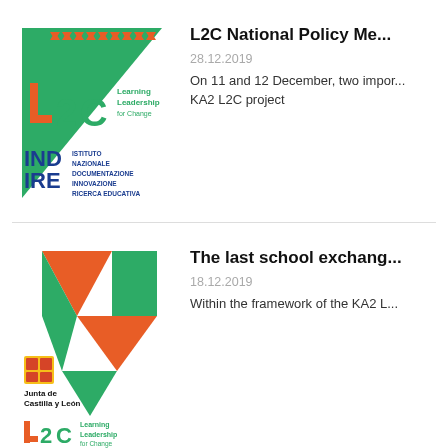[Figure (logo): L2C Learning Leadership for Change logo with green triangle background and INDIRE logo below]
L2C National Policy Me...
28.12.2019
On 11 and 12 December, two impor... KA2 L2C project
[Figure (logo): Junta de Castilla y León logo and L2C Learning Leadership for Change logo with diamond/geometric orange and green shapes]
The last school exchang...
18.12.2019
Within the framework of the KA2 L...